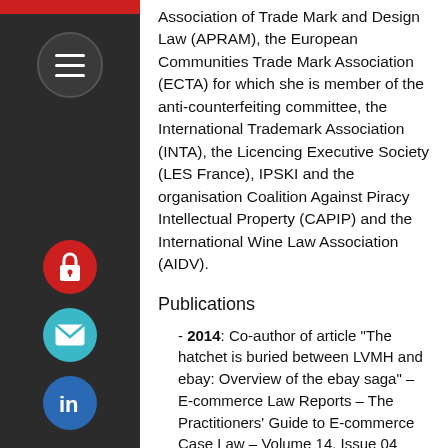Association of Trade Mark and Design Law (APRAM), the European Communities Trade Mark Association (ECTA) for which she is member of the anti-counterfeiting committee, the International Trademark Association (INTA), the Licencing Executive Society (LES France), IPSKI and the organisation Coalition Against Piracy Intellectual Property (CAPIP) and the International Wine Law Association (AIDV).
Publications
- 2014: Co-author of article “The hatchet is buried between LVMH and ebay: Overview of the ebay saga” – E-commerce Law Reports – The Practitioners’ Guide to E-commerce Case Law – Volume 14, Issue 04